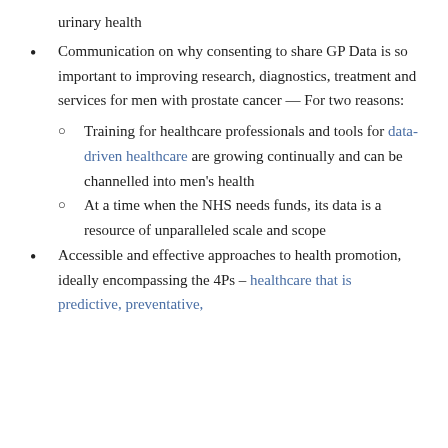urinary health
Communication on why consenting to share GP Data is so important to improving research, diagnostics, treatment and services for men with prostate cancer — For two reasons:
Training for healthcare professionals and tools for data-driven healthcare are growing continually and can be channelled into men's health
At a time when the NHS needs funds, its data is a resource of unparalleled scale and scope
Accessible and effective approaches to health promotion, ideally encompassing the 4Ps – healthcare that is predictive, preventative,